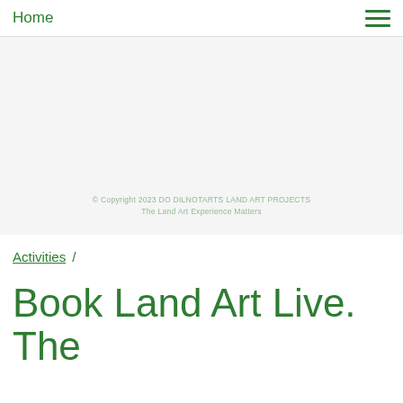Home
[Figure (photo): Large hero image area showing land art or nature scene, partially visible with faint green watermark text overlay indicating copyright and usage information.]
Activities /
Book Land Art Live. The